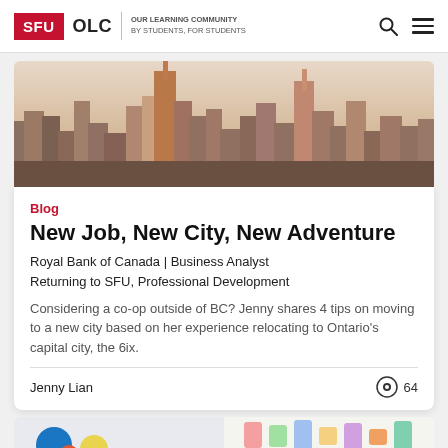SFU OLC | OUR LEARNING COMMUNITY BY STUDENTS, FOR STUDENTS
[Figure (photo): City skyline with tall office buildings and skyscrapers against a hazy sky]
Blog
New Job, New City, New Adventure
Royal Bank of Canada | Business Analyst
Returning to SFU, Professional Development
Considering a co-op outside of BC? Jenny shares 4 tips on moving to a new city based on her experience relocating to Ontario's capital city, the 6ix.
Jenny Lian
[Figure (photo): Partial view of a colorful workspace or desk scene at the bottom of the page]